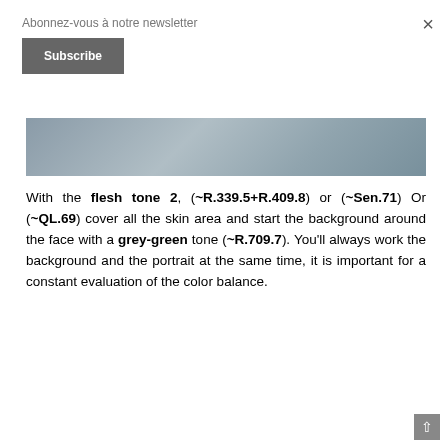Abonnez-vous à notre newsletter
Subscribe
[Figure (photo): Partial image strip showing a grey-blue blurred background, likely a portrait or face photo cropped to a horizontal band]
With the flesh tone 2, (~R.339.5+R.409.8) or (~Sen.71) Or (~QL.69) cover all the skin area and start the background around the face with a grey-green tone (~R.709.7). You'll always work the background and the portrait at the same time, it is important for a constant evaluation of the color balance.